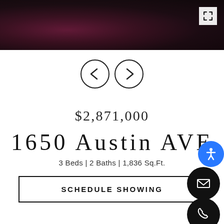[Figure (photo): Dark background photo bar showing flowering shrubs/trees with dark reddish-purple blooms at top of page]
[Figure (other): Navigation arrows: left chevron circle and right chevron circle for image gallery navigation]
$2,871,000
1650 Austin AVE
3 Beds | 2 Baths | 1,836 Sq.Ft.
SCHEDULE SHOWING